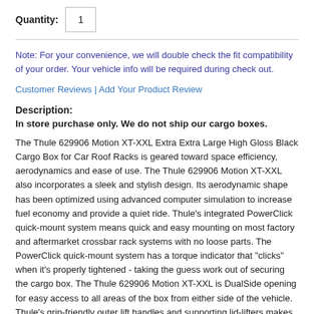Quantity: 1
Note: For your convenience, we will double check the fit compatibility of your order. Your vehicle info will be required during check out.
Customer Reviews | Add Your Product Review
Description:
In store purchase only. We do not ship our cargo boxes.
The Thule 629906 Motion XT-XXL Extra Extra Large High Gloss Black Cargo Box for Car Roof Racks is geared toward space efficiency, aerodynamics and ease of use. The Thule 629906 Motion XT-XXL also incorporates a sleek and stylish design. Its aerodynamic shape has been optimized using advanced computer simulation to increase fuel economy and provide a quiet ride. Thule's integrated PowerClick quick-mount system means quick and easy mounting on most factory and aftermarket crossbar rack systems with no loose parts. The PowerClick quick-mount system has a torque indicator that "clicks" when it's properly tightened - taking the guess work out of securing the cargo box. The Thule 629906 Motion XT-XXL is DualSide opening for easy access to all areas of the box from either side of the vehicle. Thule's grip-friendly outer lift handles and supporting lid-lifters makes opening and closing the box seamless and effortless. Thule's SlideLock system automatically locks the lid in place when the box is snapped closed. The Thule Motion XT-XXL is designed to be mounted further forward on the vehicle roof providing the best